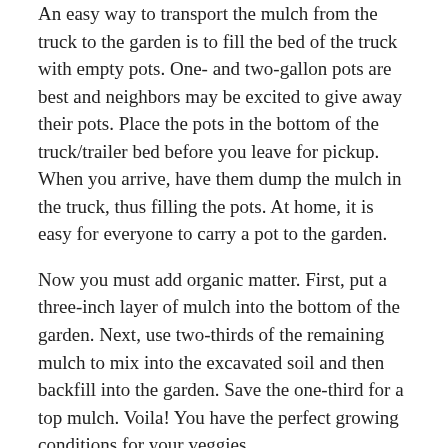An easy way to transport the mulch from the truck to the garden is to fill the bed of the truck with empty pots. One- and two-gallon pots are best and neighbors may be excited to give away their pots. Place the pots in the bottom of the truck/trailer bed before you leave for pickup. When you arrive, have them dump the mulch in the truck, thus filling the pots. At home, it is easy for everyone to carry a pot to the garden.
Now you must add organic matter. First, put a three-inch layer of mulch into the bottom of the garden. Next, use two-thirds of the remaining mulch to mix into the excavated soil and then backfill into the garden. Save the one-third for a top mulch. Voila! You have the perfect growing conditions for your veggies.
Time to plan and plant:
Cool season vegies (lettuce, beets, turnips, onions, kale, cabbage) can be seeded or planted beginning in late